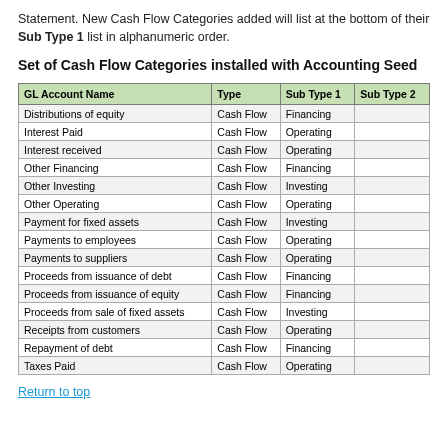Statement. New Cash Flow Categories added will list at the bottom of their Sub Type 1 list in alphanumeric order.
Set of Cash Flow Categories installed with Accounting Seed
| GL Account Name | Type | Sub Type 1 | Sub Type 2 |
| --- | --- | --- | --- |
| Distributions of equity | Cash Flow | Financing |  |
| Interest Paid | Cash Flow | Operating |  |
| Interest received | Cash Flow | Operating |  |
| Other Financing | Cash Flow | Financing |  |
| Other Investing | Cash Flow | Investing |  |
| Other Operating | Cash Flow | Operating |  |
| Payment for fixed assets | Cash Flow | Investing |  |
| Payments to employees | Cash Flow | Operating |  |
| Payments to suppliers | Cash Flow | Operating |  |
| Proceeds from issuance of debt | Cash Flow | Financing |  |
| Proceeds from issuance of equity | Cash Flow | Financing |  |
| Proceeds from sale of fixed assets | Cash Flow | Investing |  |
| Receipts from customers | Cash Flow | Operating |  |
| Repayment of debt | Cash Flow | Financing |  |
| Taxes Paid | Cash Flow | Operating |  |
Return to top